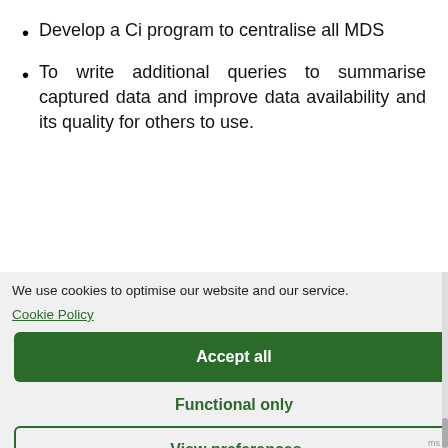Develop a Ci program to centralise all MDS
To write additional queries to summarise captured data and improve data availability and its quality for others to use.
We use cookies to optimise our website and our service.
Cookie Policy
Accept all
Functional only
View preferences
adhered to for any changes related to MDS
Oversee and undertake training and development of SISS maintenance engineers to achieve agreed personal objectives
To comply diligently with all administrative and procedural requirements of the role, always ensuring full compliance with all regulatory guidelines and company Standard Operating Procedures (SOPs).